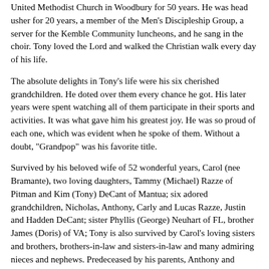United Methodist Church in Woodbury for 50 years. He was head usher for 20 years, a member of the Men's Discipleship Group, a server for the Kemble Community luncheons, and he sang in the choir. Tony loved the Lord and walked the Christian walk every day of his life.
The absolute delights in Tony's life were his six cherished grandchildren. He doted over them every chance he got. His later years were spent watching all of them participate in their sports and activities. It was what gave him his greatest joy. He was so proud of each one, which was evident when he spoke of them. Without a doubt, "Grandpop" was his favorite title.
Survived by his beloved wife of 52 wonderful years, Carol (nee Bramante), two loving daughters, Tammy (Michael) Razze of Pitman and Kim (Tony) DeCant of Mantua; six adored grandchildren, Nicholas, Anthony, Carly and Lucas Razze, Justin and Hadden DeCant; sister Phyllis (George) Neuhart of FL, brother James (Doris) of VA; Tony is also survived by Carol's loving sisters and brothers, brothers-in-law and sisters-in-law and many admiring nieces and nephews. Predeceased by his parents, Anthony and Carrie (nee Field) who owned DeLucas Tailor Shop in Westville.
Tony's family continues to be overwhelmed with the outpouring of love that has been shown to them. Tony was a one-in-a-billion...